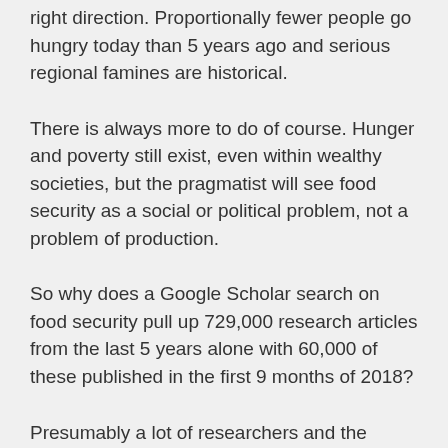right direction. Proportionally fewer people go hungry today than 5 years ago and serious regional famines are historical.
There is always more to do of course. Hunger and poverty still exist, even within wealthy societies, but the pragmatist will see food security as a social or political problem, not a problem of production.
So why does a Google Scholar search on food security pull up 729,000 research articles from the last 5 years alone with 60,000 of these published in the first 9 months of 2018?
Presumably a lot of researchers and the people behind the systems that fund their work believe we have a problem. Perhaps we need to go deeper than simple